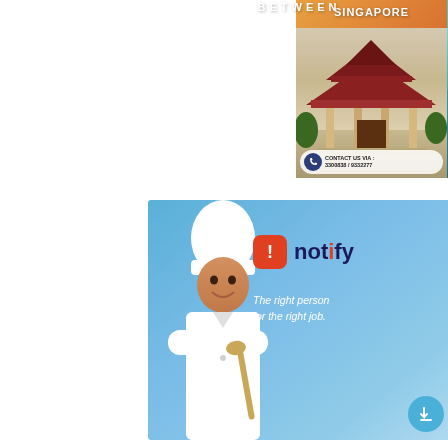[Figure (infographic): Travel advertisement split into two panels: left panel (orange background) for Singapore showing a Chinese temple, with contact info '3300838 / 9332277'; right panel (teal background) for Maldives showing a water bungalow and pier, with 'BOOK NOW!' button. Top center reads 'BETWEEN'.]
[Figure (infographic): Job recruitment app advertisement on blue gradient background. Left side shows a smiling chef in white uniform holding a ladle. Right side shows 'notify' logo (red exclamation icon + text) and tagline 'The right person for the right job.' A floating teal circle with a hand/pointer icon appears bottom right.]